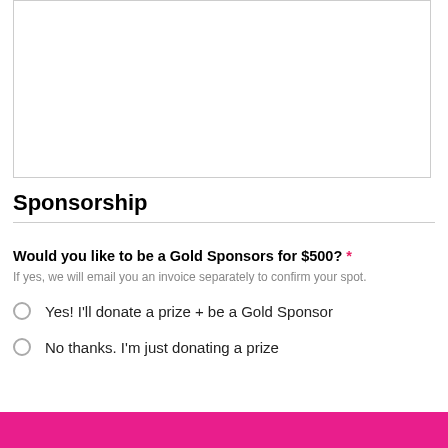[Figure (other): Empty text input box area at the top of the form]
Sponsorship
Would you like to be a Gold Sponsors for $500? *
If yes, we will email you an invoice separately to confirm your spot.
Yes! I'll donate a prize + be a Gold Sponsor
No thanks. I'm just donating a prize